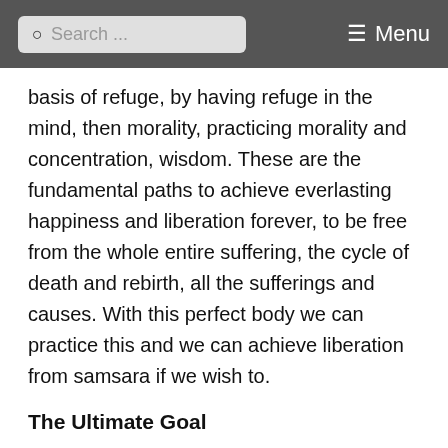Search ... Menu
basis of refuge, by having refuge in the mind, then morality, practicing morality and concentration, wisdom. These are the fundamental paths to achieve everlasting happiness and liberation forever, to be free from the whole entire suffering, the cycle of death and rebirth, all the sufferings and causes. With this perfect body we can practice this and we can achieve liberation from samsara if we wish to.
The Ultimate Goal
How do we achieve the highest goal, the full enlightenment? With this perfect human body we can practice bodhicitta and follow the bodhisattvas'